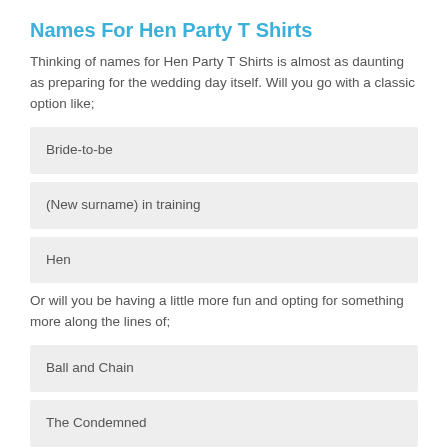Names For Hen Party T Shirts
Thinking of names for Hen Party T Shirts is almost as daunting as preparing for the wedding day itself. Will you go with a classic option like;
Bride-to-be
(New surname) in training
Hen
Or will you be having a little more fun and opting for something more along the lines of;
Ball and Chain
The Condemned